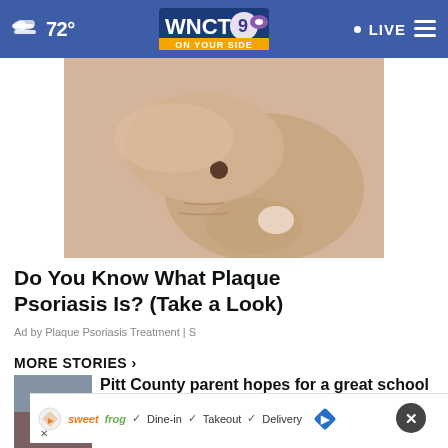72° WNCT 9 ON YOUR SIDE LIVE
[Figure (photo): Close-up photo of a hand touching a dark mole on skin]
Do You Know What Plaque Psoriasis Is? (Take a Look)
Ad by Plaque Psoriasis Treatment | S
MORE STORIES ›
Pitt County parent hopes for a great school year …
back Brian Robinson …
✓ Dine-in  ✓ Takeout  ✓ Delivery